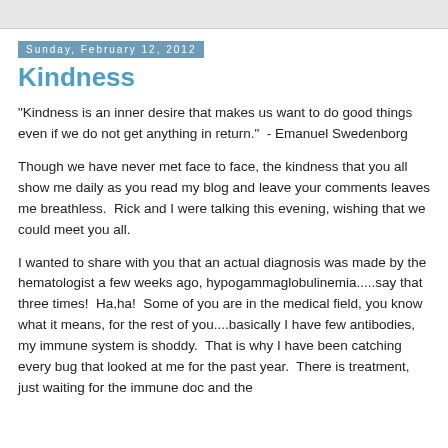Sunday, February 12, 2012
Kindness
"Kindness is an inner desire that makes us want to do good things even if we do not get anything in return."  - Emanuel Swedenborg
Though we have never met face to face, the kindness that you all show me daily as you read my blog and leave your comments leaves me breathless.  Rick and I were talking this evening, wishing that we could meet you all.
I wanted to share with you that an actual diagnosis was made by the hematologist a few weeks ago, hypogammaglobulinemia.....say that three times!  Ha,ha!  Some of you are in the medical field, you know what it means, for the rest of you....basically I have few antibodies, my immune system is shoddy.  That is why I have been catching every bug that looked at me for the past year.  There is treatment, just waiting for the immune doc and the